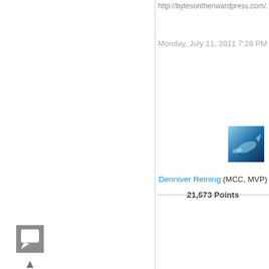http://bytesonthenwardpress.com/...
Monday, July 11, 2011 7:28 PM
[Figure (photo): User avatar photo - blue underwater/whale image]
Denniver Reining (MCC, MVP)
21,673 Points
[Figure (other): Reply/flag icon box - grey square with speech bubble icon]
▲
0
Sign in
to vote
> One award to rule them all... :)
That would be the "Microsoft Employee" 'award'.
> MCC still translates into Microsoft Community Contributor - so the word